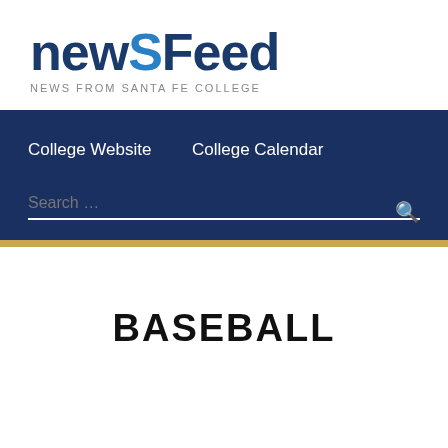newSFeed
NEWS FROM SANTA FE COLLEGE
College Website   College Calendar
Search …
BASEBALL